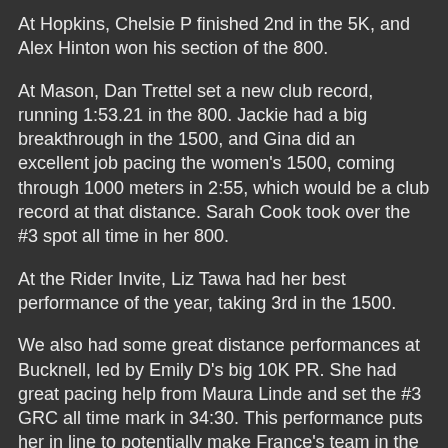At Hopkins, Chelsie P finished 2nd in the 5K, and Alex Hinton won his section of the 800.
At Mason, Dan Trettel set a new club record, running 1:53.21 in the 800. Jackie had a big breakthrough in the 1500, and Gina did an excellent job pacing the women's 1500, coming through 1000 meters in 2:55, which would be a club record at that distance. Sarah Cook took over the #3 spot all time in her 800.
At the Rider Invite, Liz Tawa had her best performance of the year, taking 3rd in the 1500.
We also had some great distance performances at Bucknell, led by Emily D's big 10K PR. She had great pacing help from Maura Linde and set the #3 GRC all time mark in 34:30. This performance puts her in line to potentially make France's team in the Euro Cup 10K in London this summer. Kyle had a giant track PR for 10K, improving significantly on his time at Bucknell last year. Max and Sam both had strong runs at 5K.